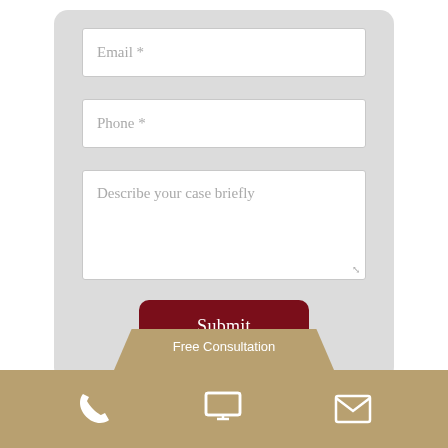[Figure (screenshot): Contact form with Email, Phone, and message textarea fields plus a Submit button on a gray rounded panel background]
Free Consultation
[Figure (infographic): Dark tan footer bar with phone, monitor, and envelope icons in white]